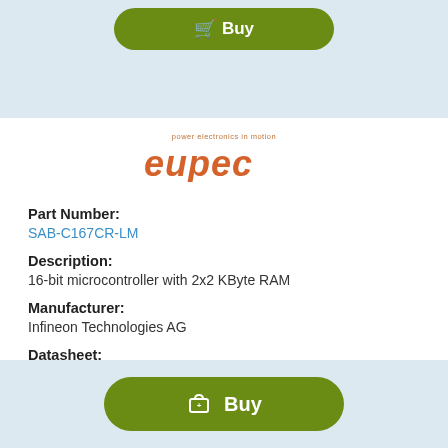[Figure (logo): eupec logo with tagline 'power electronics in motion' in orange/brown color]
Part Number:
SAB-C167CR-LM
Description:
16-bit microcontroller with 2x2 KByte RAM
Manufacturer:
Infineon Technologies AG
Datasheet:
SAB-C167CR-LM.pdf  (74 pages)